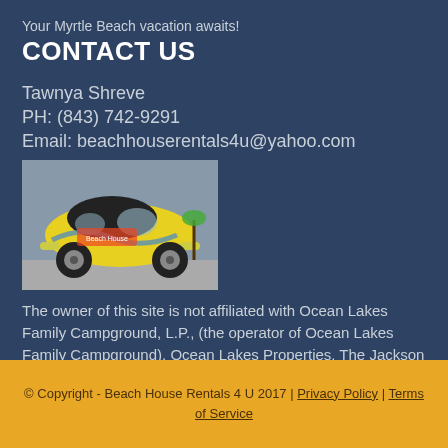Your Myrtle Beach vacation awaits!
CONTACT US
Tawnya Shreve
PH: (843) 742-9291
Email: beachhouserentals4u@yahoo.com
[Figure (photo): A yellow Volkswagen Beetle car with Beach House Rentals 4U branding and tropical graphics painted on the side, parked on a street.]
The owner of this site is not affiliated with Ocean Lakes Family Campground, L.P., (the operator of Ocean Lakes Family Campground), Ocean Lakes Properties, The Jackson Companies, or any of their subsidiaries.
© Copyright - Beach House Rentals 4 U 2017 | Privacy Policy | Terms of Service